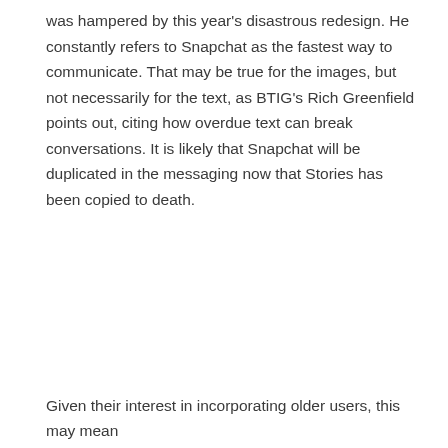was hampered by this year's disastrous redesign. He constantly refers to Snapchat as the fastest way to communicate. That may be true for the images, but not necessarily for the text, as BTIG's Rich Greenfield points out, citing how overdue text can break conversations. It is likely that Snapchat will be duplicated in the messaging now that Stories has been copied to death.
Given their interest in incorporating older users, this may mean